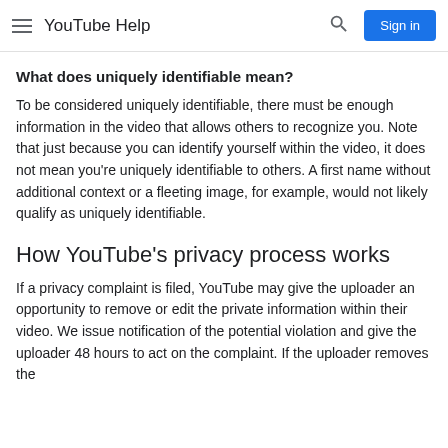YouTube Help
What does uniquely identifiable mean?
To be considered uniquely identifiable, there must be enough information in the video that allows others to recognize you. Note that just because you can identify yourself within the video, it does not mean you're uniquely identifiable to others. A first name without additional context or a fleeting image, for example, would not likely qualify as uniquely identifiable.
How YouTube's privacy process works
If a privacy complaint is filed, YouTube may give the uploader an opportunity to remove or edit the private information within their video. We issue notification of the potential violation and give the uploader 48 hours to act on the complaint. If the uploader removes the